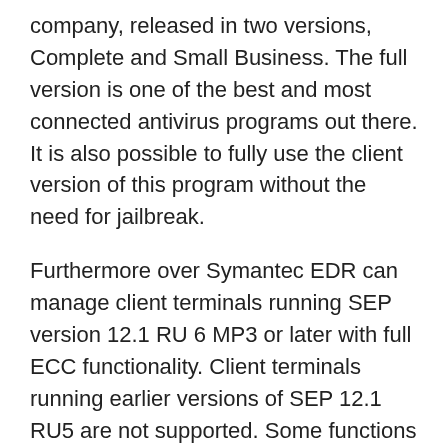company, released in two versions, Complete and Small Business. The full version is one of the best and most connected antivirus programs out there. It is also possible to fully use the client version of this program without the need for jailbreak.
Furthermore over Symantec EDR can manage client terminals running SEP version 12.1 RU 6 MP3 or later with full ECC functionality. Client terminals running earlier versions of SEP 12.1 RU5 are not supported. Some functions are limited for clients running SEP 12.1 RU5 and 12.1 RU6 MP3. The Symantec EDR documentation describes functional limits based on the SEP client version. SEPM can store records in an internal built-in database or in an external Microsoft SQL Server database. Symantec EDR can access an external Microsoft SQL Server database with no special requirements for the host system. And When